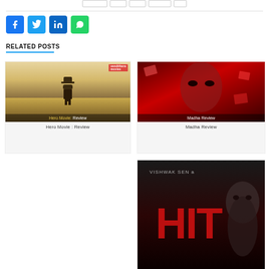[Figure (screenshot): Navigation bar with button placeholders at the top]
[Figure (infographic): Social sharing icons: Facebook (blue), Twitter (light blue), LinkedIn (dark blue), WhatsApp (green)]
RELATED POSTS
[Figure (photo): Hero Movie: Review — movie poster showing a cowboy figure in a desert scene with the text 'Hero Movie: Review' overlaid]
Hero Movie : Review
[Figure (photo): Madha Review — dark red movie poster showing a man's intense face with scattered photographs behind him, text 'Madha Review' overlaid]
Madha Review
[Figure (photo): HIT movie poster — dark background with large red 'HIT' text and a man's face on the right, 'VISHWAK SEN a' text at top]